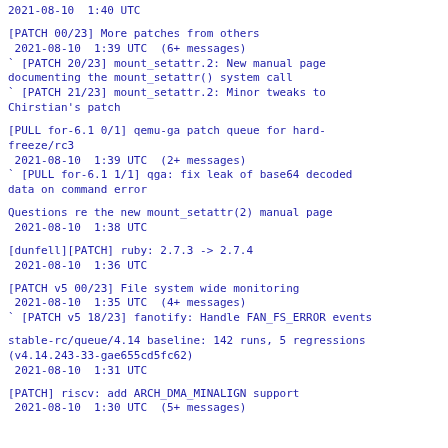2021-08-10  1:40 UTC
[PATCH 00/23] More patches from others
 2021-08-10  1:39 UTC  (6+ messages)
` [PATCH 20/23] mount_setattr.2: New manual page documenting the mount_setattr() system call
` [PATCH 21/23] mount_setattr.2: Minor tweaks to Chirstian's patch
[PULL for-6.1 0/1] qemu-ga patch queue for hard-freeze/rc3
 2021-08-10  1:39 UTC  (2+ messages)
` [PULL for-6.1 1/1] qga: fix leak of base64 decoded data on command error
Questions re the new mount_setattr(2) manual page
 2021-08-10  1:38 UTC
[dunfell][PATCH] ruby: 2.7.3 -> 2.7.4
 2021-08-10  1:36 UTC
[PATCH v5 00/23] File system wide monitoring
 2021-08-10  1:35 UTC  (4+ messages)
` [PATCH v5 18/23] fanotify: Handle FAN_FS_ERROR events
stable-rc/queue/4.14 baseline: 142 runs, 5 regressions (v4.14.243-33-gae655cd5fc62)
 2021-08-10  1:31 UTC
[PATCH] riscv: add ARCH_DMA_MINALIGN support
 2021-08-10  1:30 UTC  (5+ messages)